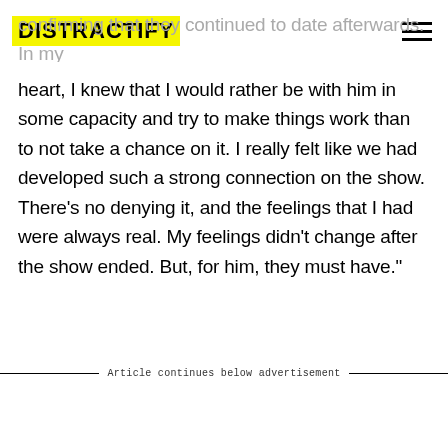DISTRACTIFY
confirming that they continued to date afterwards. "In my heart, I knew that I would rather be with him in some capacity and try to make things work than to not take a chance on it. I really felt like we had developed such a strong connection on the show. There's no denying it, and the feelings that I had were always real. My feelings didn't change after the show ended. But, for him, they must have."
Article continues below advertisement